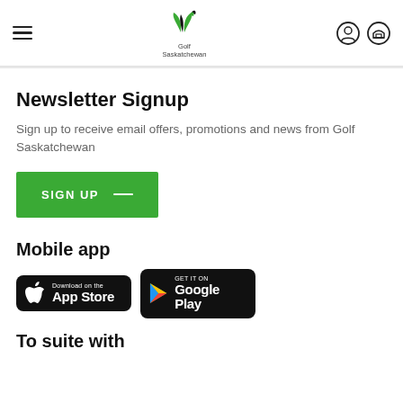Golf Saskatchewan navigation header
Newsletter Signup
Sign up to receive email offers, promotions and news from Golf Saskatchewan
SIGN UP
Mobile app
[Figure (logo): Download on the App Store badge]
[Figure (logo): Get it on Google Play badge]
To suite with